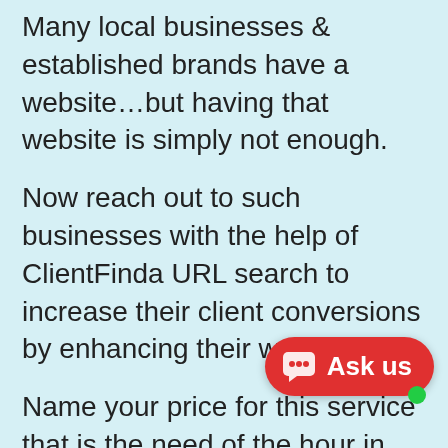Many local businesses & established brands have a website…but having that website is simply not enough.
Now reach out to such businesses with the help of ClientFinda URL search to increase their client conversions by enhancing their websites.
Name your price for this service that is the need of the hour in the wake of the pandemic.
Website Technology:
Simplistic websites do nothing except serve an aesthetic value. Dive right into the right technology to the right business to raise their sales through the roof